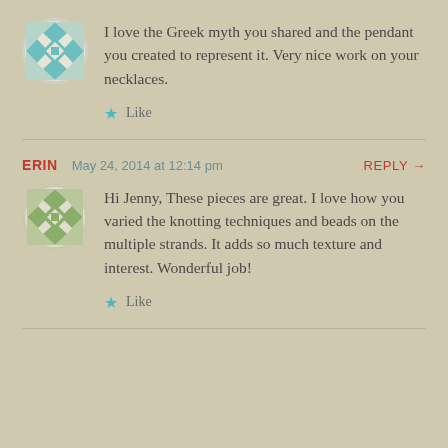[Figure (illustration): Circular avatar icon with geometric diamond/quilt pattern in teal and white colors]
I love the Greek myth you shared and the pendant you created to represent it. Very nice work on your necklaces.
★ Like
ERIN   May 24, 2014 at 12:14 pm   REPLY →
[Figure (illustration): Circular avatar icon with geometric diamond/lattice pattern in olive green and white colors]
Hi Jenny, These pieces are great. I love how you varied the knotting techniques and beads on the multiple strands. It adds so much texture and interest. Wonderful job!
★ Like